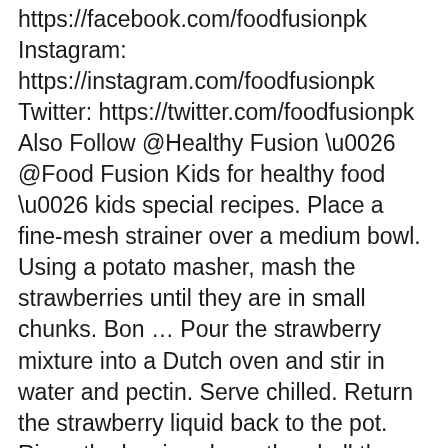https://facebook.com/foodfusionpk Instagram: https://instagram.com/foodfusionpk Twitter: https://twitter.com/foodfusionpk Also Follow @Healthy Fusion \u0026 @Food Fusion Kids for healthy food \u0026 kids special recipes. Place a fine-mesh strainer over a medium bowl. Using a potato masher, mash the strawberries until they are in small chunks. Bon … Pour the strawberry mixture into a Dutch oven and stir in water and pectin. Serve chilled. Return the strawberry liquid back to the pot. Rinse the berries clean, then hull them with a paring knife by slicing around and pulling out the stem. Strawberry Syrup Recipe - it's SO easy, and you need only 4 ingredients! I decided to make a simple syrup with strawberries because in all this heat, Strawberry Sangria sounded so refreshing. How To Make An Easy Strawberry Syrup. A recipe from Canada's Ricardo in his cookbook "Ricardo Meals for every occassion" that I received from Katzen my cookbook swap partner. Finally, pour the syrup in sterilized jars or bottles. Jillian - a Food, Folks and Fun original! I used free printable labels for my jars which I found on IDIY. Once the sugar has